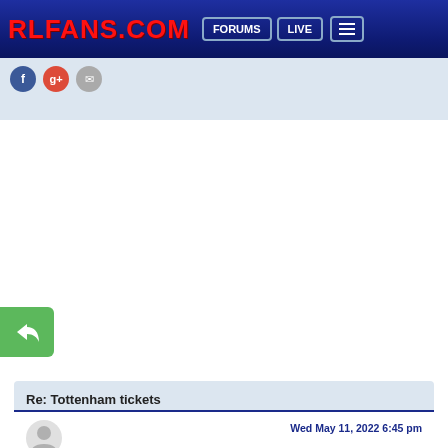RLFANS.COM | FORUMS | LIVE
[Figure (screenshot): Social sharing icons: Facebook (blue circle), Google+ (red circle), Email (grey circle)]
[Figure (illustration): Green reply button icon with arrow]
Re: Tottenham tickets
Wed May 11, 2022 6:45 pm